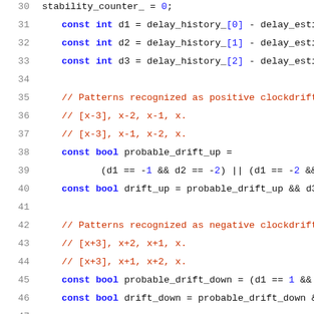[Figure (screenshot): Source code screenshot showing C++ code lines 30-51 with syntax highlighting. Lines include variable declarations, boolean expressions, and comments about clockdrift patterns.]